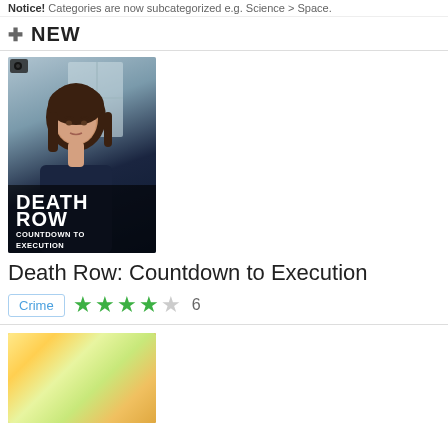Notice! Categories are now subcategorized e.g. Science > Space.
+ NEW
[Figure (photo): DVD/streaming cover art for 'Death Row: Countdown to Execution' showing a woman looking at camera, with bold white text overlay on dark background]
Death Row: Countdown to Execution
Crime  ★★★★☆  6
[Figure (photo): Colorful children's program cover art showing a man with glasses in front of bright colorful children's imagery and a baby]